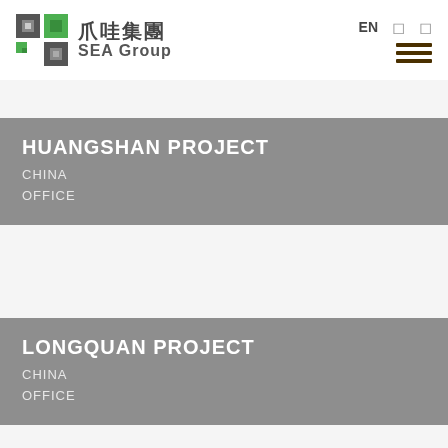爪哇集團 SEA Group — EN navigation header
HUANGSHAN PROJECT
CHINA
OFFICE
LONGQUAN PROJECT
CHINA
OFFICE